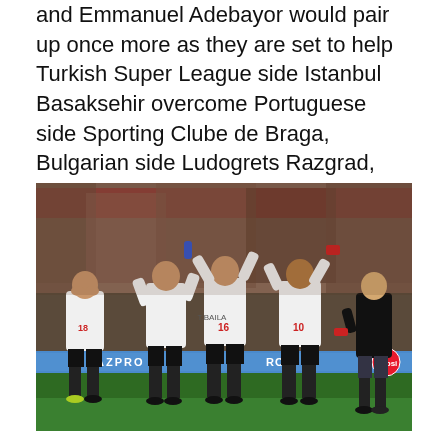and Emmanuel Adebayor would pair up once more as they are set to help Turkish Super League side Istanbul Basaksehir overcome Portuguese side Sporting Clube de Braga, Bulgarian side Ludogrets Razgrad, and German side Hoffenheim in Group C.
[Figure (photo): Football players in white jerseys (numbers 18, 16, 10 visible) celebrating and applauding toward a crowd in a stadium. Gazprom advertising boards visible at pitch level. A man in a black t-shirt stands to the right.]